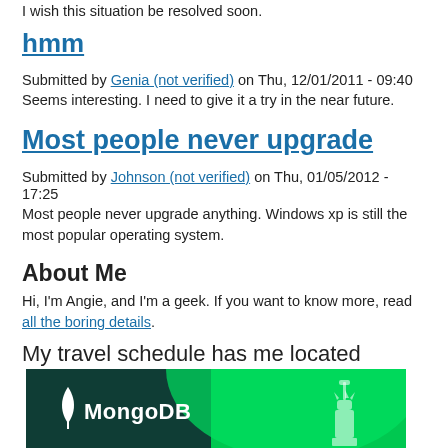I wish this situation be resolved soon.
hmm
Submitted by Genia (not verified) on Thu, 12/01/2011 - 09:40
Seems interesting. I need to give it a try in the near future.
Most people never upgrade
Submitted by Johnson (not verified) on Thu, 01/05/2012 - 17:25
Most people never upgrade anything. Windows xp is still the most popular operating system.
About Me
Hi, I'm Angie, and I'm a geek. If you want to know more, read all the boring details.
My travel schedule has me located
[Figure (logo): MongoDB logo banner with Statue of Liberty on green and dark teal background]